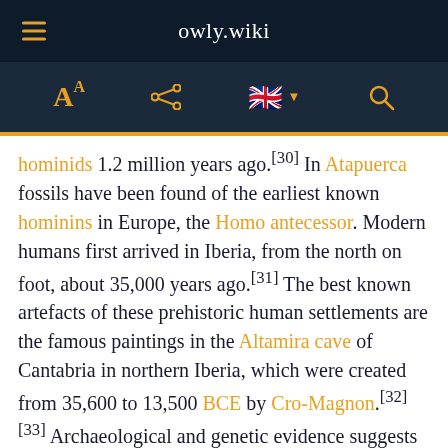owly.wiki
hominids 1.2 million years ago.[30] In Atapuerca fossils have been found of the earliest known hominins in Europe, the Homo antecessor. Modern humans first arrived in Iberia, from the north on foot, about 35,000 years ago.[31] The best known artefacts of these prehistoric human settlements are the famous paintings in the Altamira cave of Cantabria in northern Iberia, which were created from 35,600 to 13,500 BCE by Cro-Magnon.[32][33] Archaeological and genetic evidence suggests that the Iberian Peninsula acted as one of several major refugia from which northern Europe was repopulated following the end of